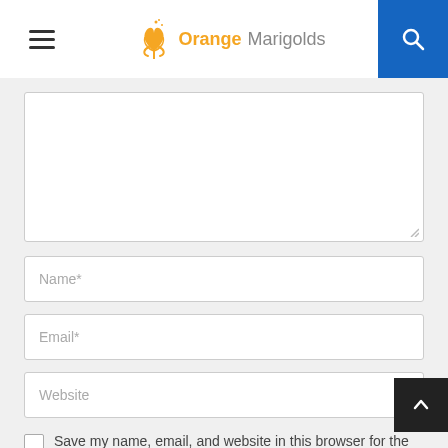Orange Marigolds
[Figure (screenshot): Web form with textarea, name, email, website fields, checkbox and submit button on Orange Marigolds website]